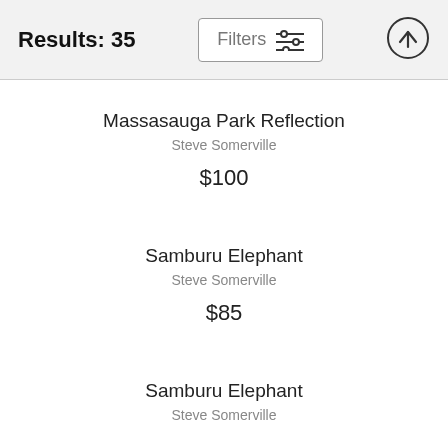Results: 35
Massasauga Park Reflection
Steve Somerville
$100
Samburu Elephant
Steve Somerville
$85
Samburu Elephant
Steve Somerville